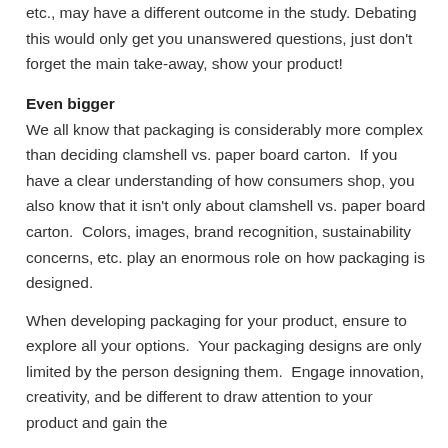etc., may have a different outcome in the study. Debating this would only get you unanswered questions, just don't forget the main take-away, show your product!
Even bigger
We all know that packaging is considerably more complex than deciding clamshell vs. paper board carton.  If you have a clear understanding of how consumers shop, you also know that it isn't only about clamshell vs. paper board carton.  Colors, images, brand recognition, sustainability concerns, etc. play an enormous role on how packaging is designed.
When developing packaging for your product, ensure to explore all your options.  Your packaging designs are only limited by the person designing them.  Engage innovation, creativity, and be different to draw attention to your product and gain the